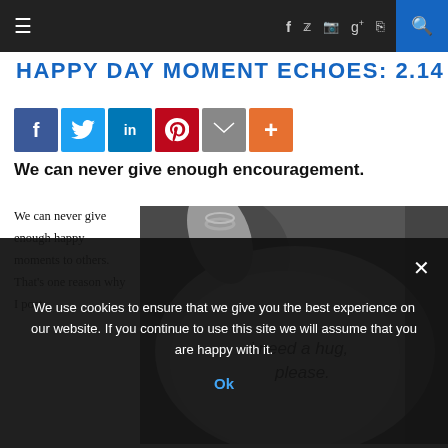≡   f  🐦  📷  g+  ≫   🔍
HAPPY DAY MOMENT ECHOES: 2.14
[Figure (infographic): Social share buttons: Facebook, Twitter, LinkedIn, Pinterest, Email, Plus]
We can never give enough encouragement.
We can never give enough happy moments to others. That's one reason why I post
[Figure (photo): Black and white photo of an open palm with the text 'i need a hug, please.' written on it, with a ring on one finger.]
We use cookies to ensure that we give you the best experience on our website. If you continue to use this site we will assume that you are happy with it.
Ok